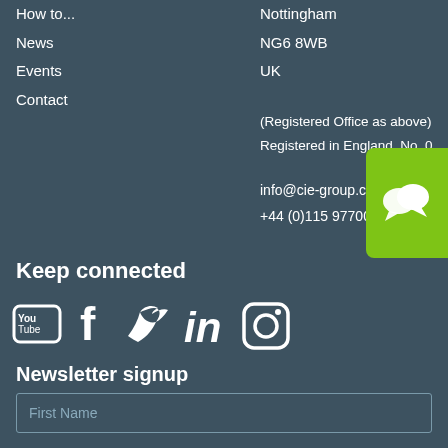How to...
News
Events
Contact
Nottingham
NG6 8WB
UK
(Registered Office as above)
Registered in England, No. 0...
info@cie-group.com
+44 (0)115 9770075
[Figure (illustration): Green chat bubble icon with two overlapping speech bubble circles]
Keep connected
[Figure (illustration): Social media icons: YouTube, Facebook, Twitter, LinkedIn, Instagram]
Newsletter signup
First Name
Last Name
Email